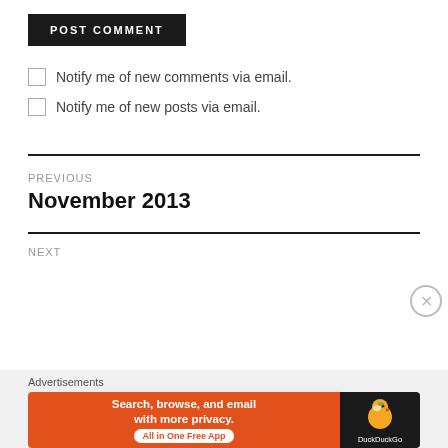POST COMMENT
Notify me of new comments via email.
Notify me of new posts via email.
PREVIOUS
November 2013
NEXT
Advertisements
[Figure (other): DuckDuckGo advertisement banner: 'Search, browse, and email with more privacy. All in One Free App' with DuckDuckGo logo on dark background]